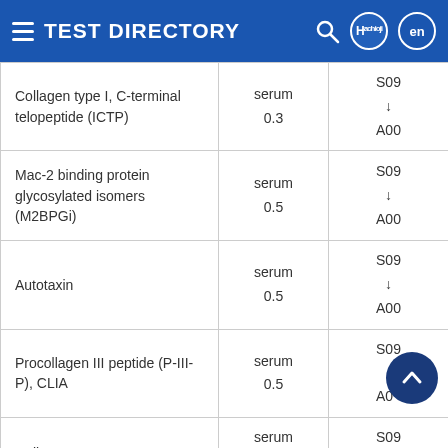TEST DIRECTORY
| Test Name | Specimen / Volume | Schedule |
| --- | --- | --- |
| Collagen type I, C-terminal telopeptide (ICTP) | serum
0.3 | S09
↓
A00 |
| Mac-2 binding protein glycosylated isomers (M2BPGi) | serum
0.5 | S09
↓
A00 |
| Autotaxin | serum
0.5 | S09
↓
A00 |
| Procollagen III peptide (P-III-P), CLIA | serum
0.5 | S09
↓
A00 |
| Collagen type IV | serum
0.1 | S09
↓
... |